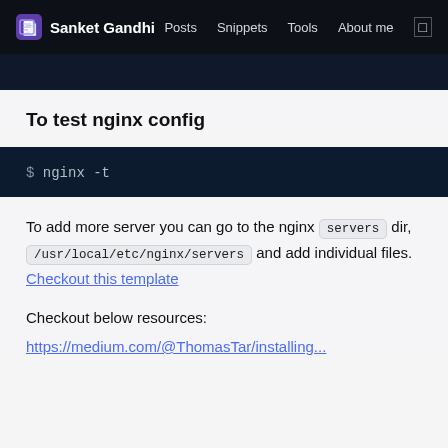Sanket Gandhi | Posts Snippets Tools About me
To test nginx config
$ nginx -t
To add more server you can go to the nginx servers dir, /usr/local/etc/nginx/servers and add individual files. Checkout this template
Checkout below resources:
https://medium.com/@ThomasTar/installing...